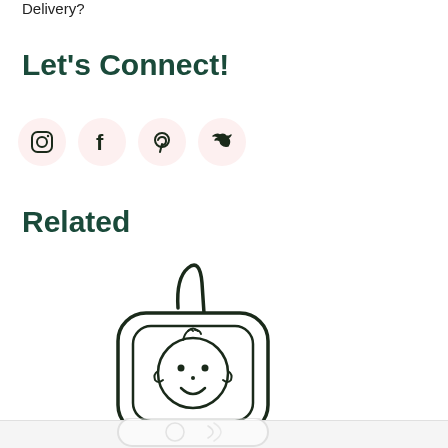Delivery?
Let's Connect!
[Figure (illustration): Four social media icon circles: Instagram, Facebook, Pinterest, Twitter]
Related
[Figure (illustration): Baby monitor outline illustration with baby face on screen, with reflection below]